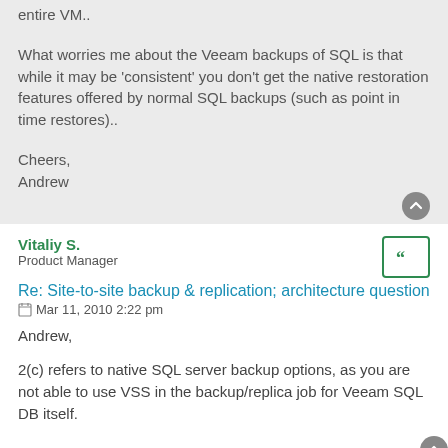entire VM..
What worries me about the Veeam backups of SQL is that while it may be 'consistent' you don't get the native restoration features offered by normal SQL backups (such as point in time restores)..
Cheers,
Andrew
Vitaliy S.
Product Manager
Re: Site-to-site backup & replication; architecture question
Mar 11, 2010 2:22 pm
Andrew,
2(c) refers to native SQL server backup options, as you are not able to use VSS in the backup/replica job for Veeam SQL DB itself.